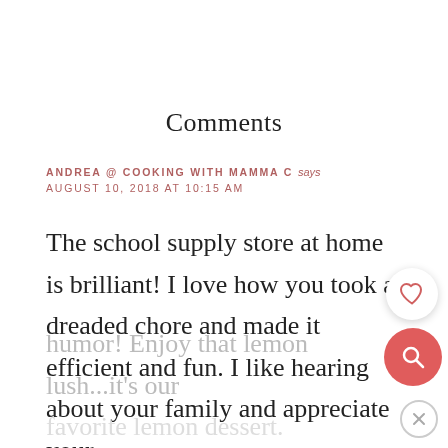Comments
ANDREA @ COOKING WITH MAMMA C says
AUGUST 10, 2018 AT 10:15 AM
The school supply store at home is brilliant! I love how you took a dreaded chore and made it efficient and fun. I like hearing about your family and appreciate your humor! Enjoy that lemon lush...it's our favorite lemon dessert.